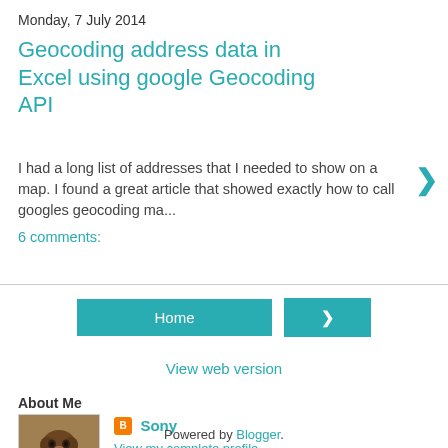Monday, 7 July 2014
Geocoding address data in Excel using google Geocoding API
I had a long list of addresses that I needed to show on a map. I found a great article that showed exactly how to call googles geocoding ma...
6 comments:
Home
View web version
About Me
[Figure (photo): Profile photo of a chimpanzee sitting with arms folded]
Sony
View my complete profile
Powered by Blogger.